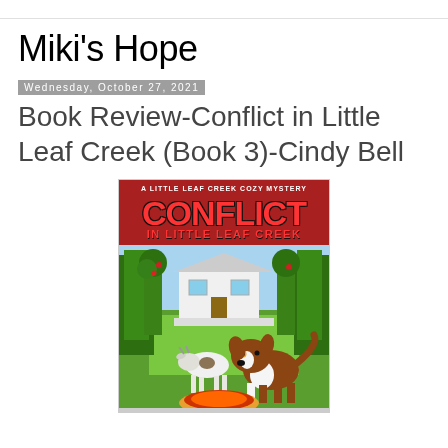Miki's Hope
Wednesday, October 27, 2021
Book Review-Conflict in Little Leaf Creek (Book 3)-Cindy Bell
[Figure (photo): Book cover of 'Conflict in Little Leaf Creek' - A Little Leaf Creek Cozy Mystery by Cindy Bell, showing a red and white border collie and goats on a farm with a white house and apple orchard in the background. Red banner at top with series name, large red distressed font title 'CONFLICT IN LITTLE LEAF CREEK'.]